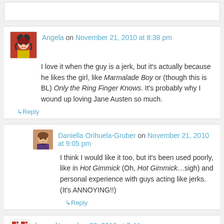[top empty box partial]
Angela on November 21, 2010 at 8:38 pm
I love it when the guy is a jerk, but it's actually because he likes the girl, like Marmalade Boy or (though this is BL) Only the Ring Finger Knows. It's probably why I wound up loving Jane Austen so much.
↳ Reply
Daniella Orihuela-Gruber on November 21, 2010 at 9:05 pm
I think I would like it too, but it's been used poorly, like in Hot Gimmick (Oh, Hot Gimmick…sigh) and personal experience with guys acting like jerks. (It's ANNOYING!!)
↳ Reply
lys on November 22, 2010 at 7:44 pm